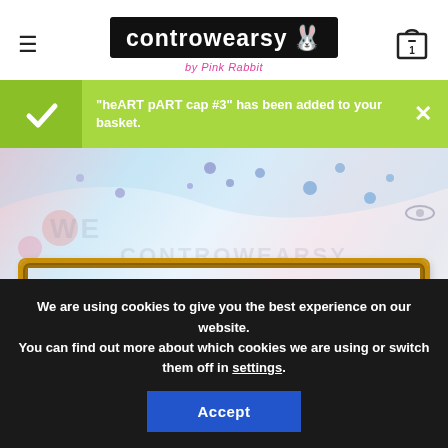[Figure (logo): Controwearsy by Pink Rabbit logo — white text on black background with illustrated blue/pink rabbit character]
"heART pART cap #3" has been added to your basket.
[Figure (illustration): Hero banner with watercolor/graffiti art background showing text CONTROWEARSY in a gold ornate frame, with colorful paint splatters and an eye illustration]
We are using cookies to give you the best experience on our website.
You can find out more about which cookies we are using or switch them off in settings.
Accept